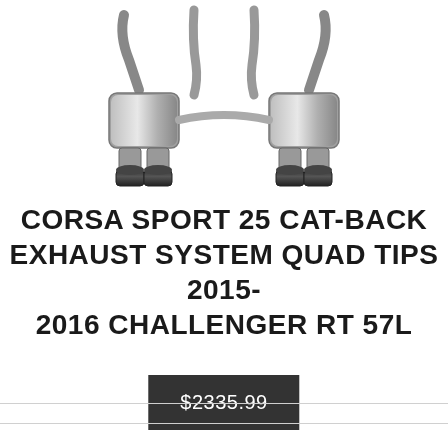[Figure (photo): Product photo of a stainless steel cat-back exhaust system with quad tips, showing pipes and four exhaust tip outlets arranged symmetrically]
CORSA SPORT 25 CAT-BACK EXHAUST SYSTEM QUAD TIPS 2015-2016 CHALLENGER RT 57L
$2335.99